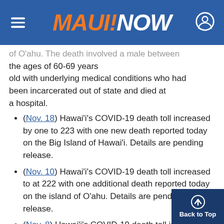MAUI NOW
of O'ahu. The death involved a male between the ages of 60-69 years old with underlying medical conditions who had been incarcerated out of state and died at a hospital.
(Nov. 18) Hawai'i's COVID-19 death toll increased by one to 223 with one new death reported today on the Big Island of Hawai'i. Details are pending release.
(Nov. 10) Hawai'i's COVID-19 death toll increased to at 222 with one additional death reported today on the island of O'ahu. Details are pending release.
(Nov. 8) Hawai'i's COVID-19 death toll increased to at 221 with one additional death reported today on the island of O'ahu. Details are pending release.